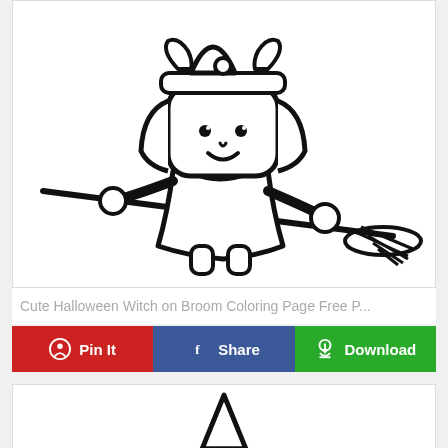[Figure (illustration): Cute cartoon Halloween witch girl riding a broom, holding it with both hands, wearing a witch hat with bow, simple black line art coloring page style]
Cute Halloween Witch on Broom Coloring Page Free P...
Pin It | Share | Download
[Figure (illustration): Partial view of another coloring page, showing the tip of a witch hat or similar pointed shape, cut off at bottom of page]